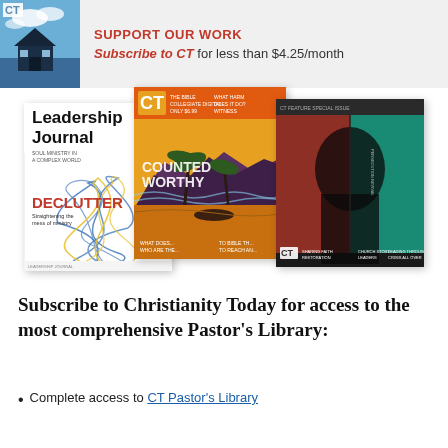[Figure (infographic): Banner with CT magazine cover image and text: SUPPORT OUR WORK / Subscribe to CT for less than $4.25/month]
[Figure (illustration): Three magazine covers fanned out: Leadership Journal (DECLUTTER issue), CT Magazine (COUNTED WORTHY issue, orange/yellow), and CT Special Issue (red/teal person portrait)]
Subscribe to Christianity Today for access to the most comprehensive Pastor's Library:
Complete access to CT Pastor's Library